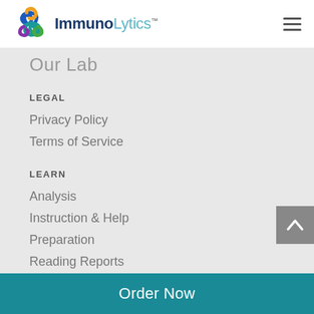ImmunoLytics
Our Lab
LEGAL
Privacy Policy
Terms of Service
LEARN
Analysis
Instruction & Help
Preparation
Reading Reports
The Mold Blog
Order Now